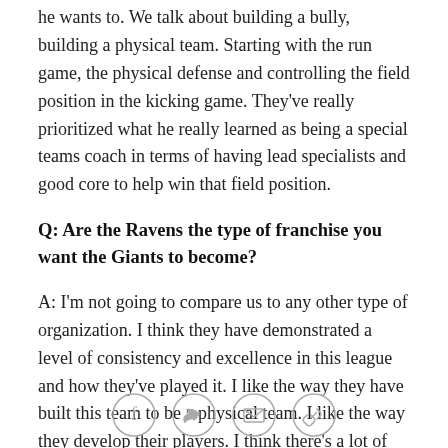he wants to. We talk about building a bully, building a physical team. Starting with the run game, the physical defense and controlling the field position in the kicking game. They've really prioritized what he really learned as being a special teams coach in terms of having lead specialists and good core to help win that field position.
Q: Are the Ravens the type of franchise you want the Giants to become?
A: I'm not going to compare us to any other type of organization. I think they have demonstrated a level of consistency and excellence in this league and how they've played it. I like the way they have built this team to be a physical team. I like the way they develop their players. I think there's a lot of things you can look
[Figure (other): Social sharing icons: Facebook, Twitter, Email, Link/bookmark]